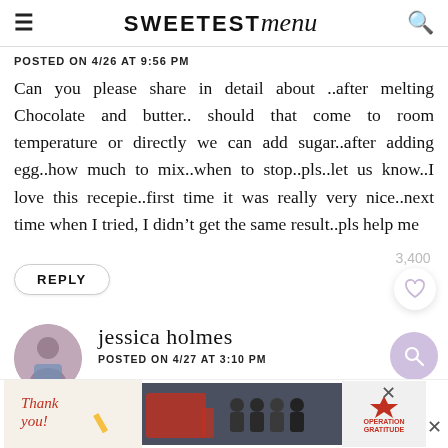SWEETEST menu
POSTED ON 4/26 AT 9:56 PM
Can you please share in detail about ..after melting Chocolate and butter.. should that come to room temperature or directly we can add sugar..after adding egg..how much to mix..when to stop..pls..let us know..I love this recepie..first time it was really very nice..next time when I tried, I didn’t get the same result..pls help me
REPLY
3,400
jessica holmes
POSTED ON 4/27 AT 3:10 PM
[Figure (photo): Advertisement banner with thank you message and Operation Gratitude logo with firefighters photo]